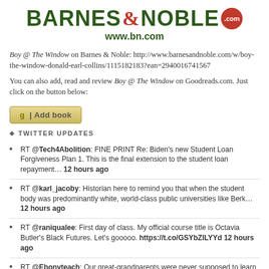[Figure (logo): Barnes & Noble .com logo with green text and orange-red circle, followed by www.bn.com URL]
Boy @ The Window on Barnes & Noble: http://www.barnesandnoble.com/w/boy-the-window-donald-earl-collins/1115182183?ean=2940016741567
You can also add, read and review Boy @ The Window on Goodreads.com. Just click on the button below:
[Figure (other): Goodreads 'g | Add book' button]
TWITTER UPDATES
RT @Tech4Abolition: FINE PRINT Re: Biden's new Student Loan Forgiveness Plan 1. This is the final extension to the student loan repayment… 12 hours ago
RT @karl_jacoby: Historian here to remind you that when the student body was predominantly white, world-class public universities like Berk… 12 hours ago
RT @raniqualee: First day of class. My official course title is Octavia Butler's Black Futures. Let's gooooo. https://t.co/GSYbZILYYd 12 hours ago
RT @Ebonyteach: Our great-grandparents were never supposed to learn to read. And we were never meant to have all these degrees. Every tim… 14 hours ago